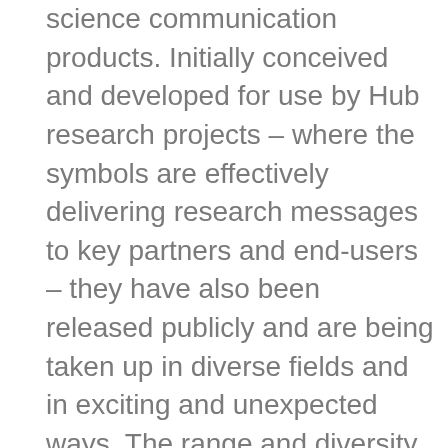science communication products. Initially conceived and developed for use by Hub research projects – where the symbols are effectively delivering research messages to key partners and end-users – they have also been released publicly and are being taken up in diverse fields and in exciting and unexpected ways. The range and diversity of symbols, including plants, animals, people, land uses, livelihoods and aspirations, are fostering inclusive two-way communication and better representing the landscapes and stories unique to northern Australia.
Central to the successful uptake of research by users is effective science communication that delivers